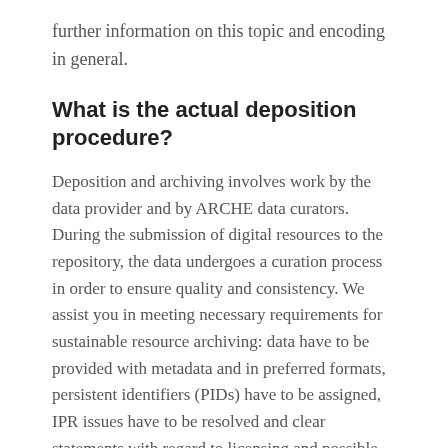further information on this topic and encoding in general.
What is the actual deposition procedure?
Deposition and archiving involves work by the data provider and by ARCHE data curators. During the submission of digital resources to the repository, the data undergoes a curation process in order to ensure quality and consistency. We assist you in meeting necessary requirements for sustainable resource archiving: data have to be provided with metadata and in preferred formats, persistent identifiers (PIDs) have to be assigned, IPR issues have to be resolved and clear statements with regard to licensing and possible use of the resources are to be made.
Deposition involves four stages, which are detailed in the Deposition Process: